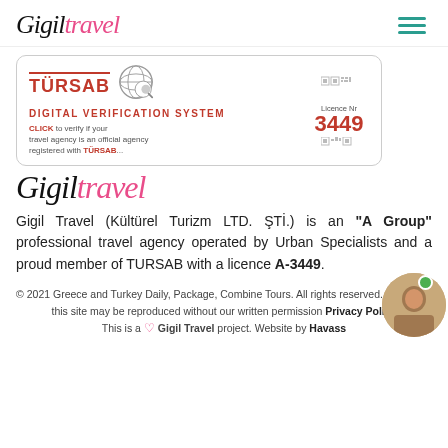Gigil Travel
[Figure (logo): TURSAB Digital Verification System badge with licence number 3449]
[Figure (logo): Gigil Travel handwritten-style logo in large format]
Gigil Travel (Kültürel Turizm LTD. ŞTİ.) is an "A Group" professional travel agency operated by Urban Specialists and a proud member of TURSAB with a licence A-3449.
© 2021 Greece and Turkey Daily, Package, Combine Tours. All rights reserved. No part of this site may be reproduced without our written permission Privacy Policy. This is a ♡ Gigil Travel project. Website by Havass